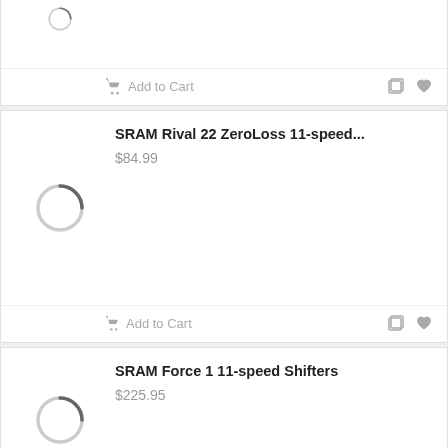[Figure (screenshot): Top of first product card, partially visible, showing only Add to Cart button and action icons]
SRAM Rival 22 ZeroLoss 11-speed...
$84.99
[Figure (illustration): Loading spinner circle icon for product image]
Add to Cart
SRAM Force 1 11-speed Shifters
$225.95
[Figure (illustration): Loading spinner circle icon for product image]